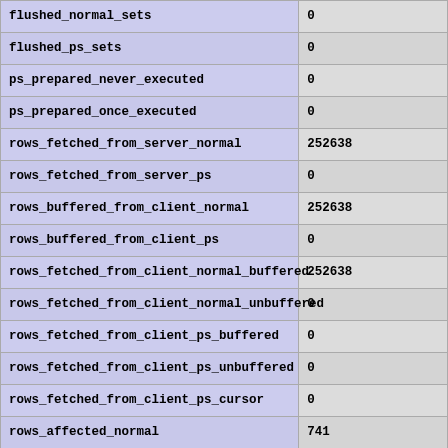| flushed_normal_sets | 0 |
| flushed_ps_sets | 0 |
| ps_prepared_never_executed | 0 |
| ps_prepared_once_executed | 0 |
| rows_fetched_from_server_normal | 252638 |
| rows_fetched_from_server_ps | 0 |
| rows_buffered_from_client_normal | 252638 |
| rows_buffered_from_client_ps | 0 |
| rows_fetched_from_client_normal_buffered | 252638 |
| rows_fetched_from_client_normal_unbuffered | 0 |
| rows_fetched_from_client_ps_buffered | 0 |
| rows_fetched_from_client_ps_unbuffered | 0 |
| rows_fetched_from_client_ps_cursor | 0 |
| rows_affected_normal | 741 |
| rows_affected_ps | 0 |
| rows_skipped_normal | 252638 |
| rows_skipped_ps | 0 |
| copy_on_write_saved | 0 |
| copy_on_write_performed | 0 |